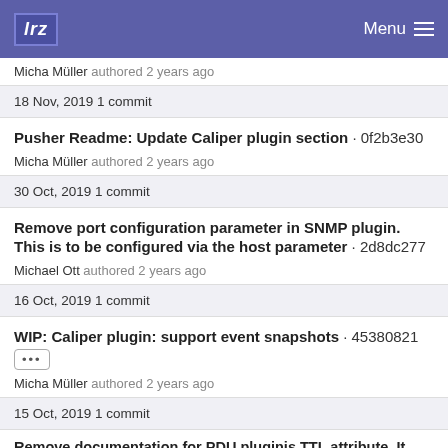lrz  Menu
Micha Müller authored 2 years ago
18 Nov, 2019 1 commit
Pusher Readme: Update Caliper plugin section · 0f2b3e30
Micha Müller authored 2 years ago
30 Oct, 2019 1 commit
Remove port configuration parameter in SNMP plugin. This is to be configured via the host parameter · 2d8dc277
Michael Ott authored 2 years ago
16 Oct, 2019 1 commit
WIP: Caliper plugin: support event snapshots · 45380821
Micha Müller authored 2 years ago
15 Oct, 2019 1 commit
Remove documentation for PDU pluginis TTL attribute. It